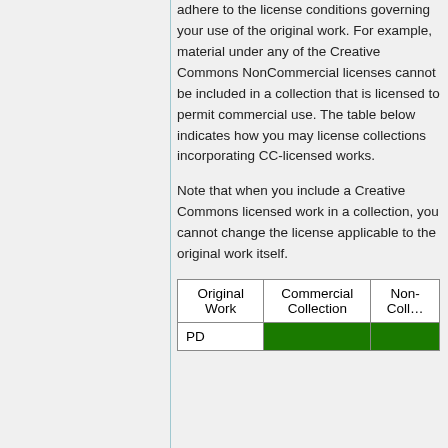adhere to the license conditions governing your use of the original work. For example, material under any of the Creative Commons NonCommercial licenses cannot be included in a collection that is licensed to permit commercial use. The table below indicates how you may license collections incorporating CC-licensed works.
Note that when you include a Creative Commons licensed work in a collection, you cannot change the license applicable to the original work itself.
| Original Work | Commercial Collection | Non-Commercial Collection |
| --- | --- | --- |
| PD |  |  |